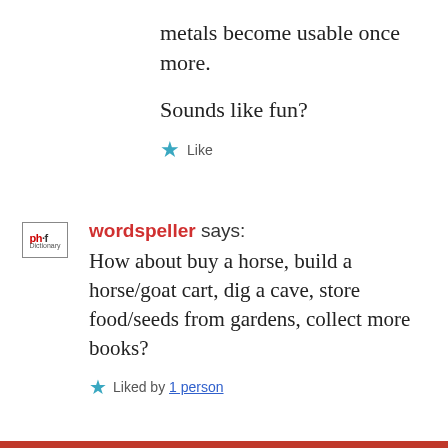metals become usable once more.
Sounds like fun?
★ Like
wordspeller says:
How about buy a horse, build a horse/goat cart, dig a cave, store food/seeds from gardens, collect more books?
★ Liked by 1 person